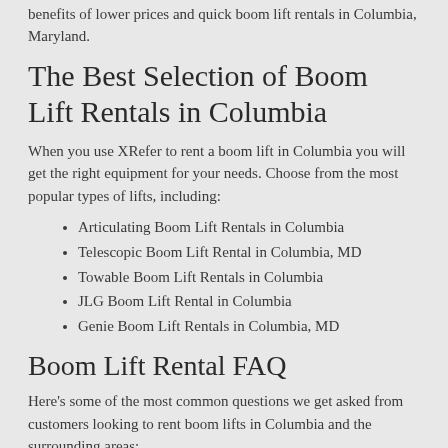benefits of lower prices and quick boom lift rentals in Columbia, Maryland.
The Best Selection of Boom Lift Rentals in Columbia
When you use XRefer to rent a boom lift in Columbia you will get the right equipment for your needs. Choose from the most popular types of lifts, including:
Articulating Boom Lift Rentals in Columbia
Telescopic Boom Lift Rental in Columbia, MD
Towable Boom Lift Rentals in Columbia
JLG Boom Lift Rental in Columbia
Genie Boom Lift Rentals in Columbia, MD
Boom Lift Rental FAQ
Here's some of the most common questions we get asked from customers looking to rent boom lifts in Columbia and the surrounding areas:
How much does it cost to rent a boom lift in Columbia?
Columbia lift costs start at around $200 per day for